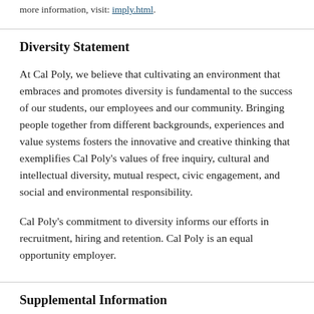more information, visit: imply.html.
Diversity Statement
At Cal Poly, we believe that cultivating an environment that embraces and promotes diversity is fundamental to the success of our students, our employees and our community. Bringing people together from different backgrounds, experiences and value systems fosters the innovative and creative thinking that exemplifies Cal Poly's values of free inquiry, cultural and intellectual diversity, mutual respect, civic engagement, and social and environmental responsibility.
Cal Poly's commitment to diversity informs our efforts in recruitment, hiring and retention. Cal Poly is an equal opportunity employer.
Supplemental Information